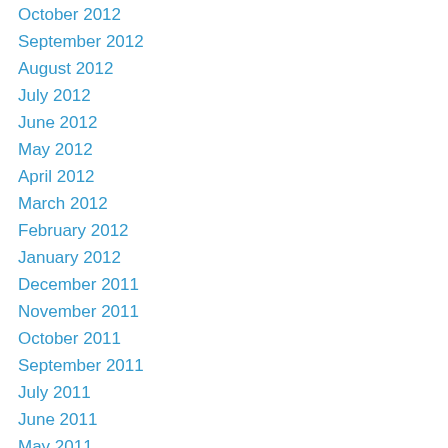October 2012
September 2012
August 2012
July 2012
June 2012
May 2012
April 2012
March 2012
February 2012
January 2012
December 2011
November 2011
October 2011
September 2011
July 2011
June 2011
May 2011
April 2011
March 2011
February 2011